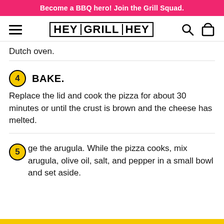Become a BBQ hero! Join the Grill Squad.
[Figure (screenshot): Hey Grill Hey website navigation bar with hamburger menu, logo, search icon, and cart icon]
Dutch oven.
4. BAKE. Replace the lid and cook the pizza for about 30 minutes or until the crust is brown and the cheese has melted.
5. ge the arugula. While the pizza cooks, mix arugula, olive oil, salt, and pepper in a small bowl and set aside.